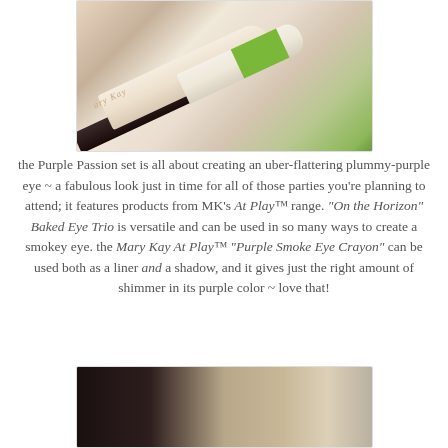[Figure (photo): Photo of Mary Kay eye makeup products including a pencil crayon with green branding and a dark eyeliner pencil on a light surface]
the Purple Passion set is all about creating an uber-flattering plummy-purple eye ~ a fabulous look just in time for all of those parties you're planning to attend; it features products from MK's At Play™ range. "On the Horizon" Baked Eye Trio is versatile and can be used in so many ways to create a smokey eye. the Mary Kay At Play™ "Purple Smoke Eye Crayon" can be used both as a liner and a shadow, and it gives just the right amount of shimmer in its purple color ~ love that!
[Figure (photo): Photo of Mary Kay makeup products with dark packaging and eye shadow or crayon product visible]